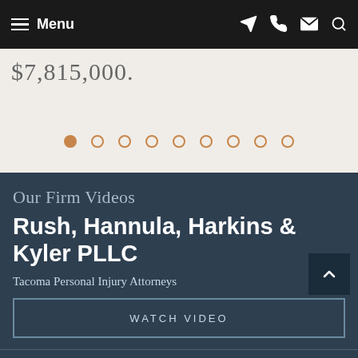Menu
$7,815,000.
[Figure (other): Carousel pagination dots: 9 circles, first one filled orange, rest outlined in orange]
Our Firm Videos
Rush, Hannula, Harkins & Kyler PLLC
Tacoma Personal Injury Attorneys
WATCH VIDEO